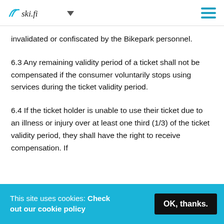ski.fi
invalidated or confiscated by the Bikepark personnel.
6.3 Any remaining validity period of a ticket shall not be compensated if the consumer voluntarily stops using services during the ticket validity period.
6.4 If the ticket holder is unable to use their ticket due to an illness or injury over at least one third (1/3) of the ticket validity period, they shall have the right to receive compensation. If
This site uses cookies: Check out our cookie policy
OK, thanks.